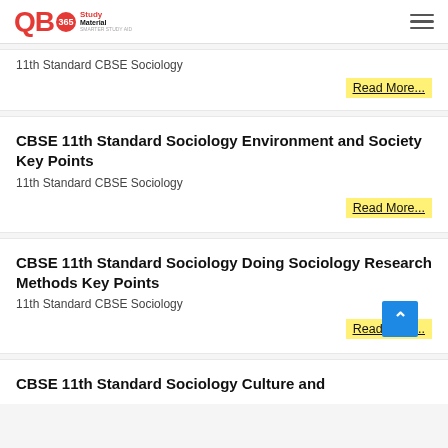QB365 Study Material
11th Standard CBSE Sociology
Read More...
CBSE 11th Standard Sociology Environment and Society Key Points
11th Standard CBSE Sociology
Read More...
CBSE 11th Standard Sociology Doing Sociology Research Methods Key Points
11th Standard CBSE Sociology
Read More...
CBSE 11th Standard Sociology Culture and